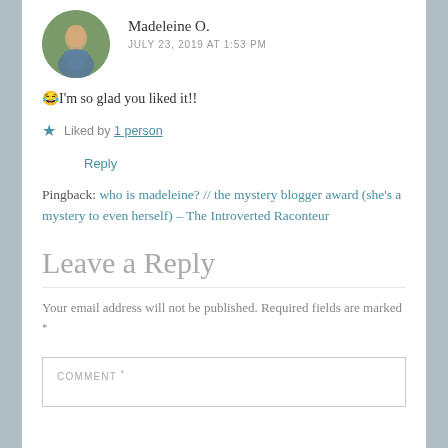Madeleine O.
JULY 23, 2019 AT 1:53 PM
😂I'm so glad you liked it!!
Liked by 1 person
Reply
Pingback: who is madeleine? // the mystery blogger award (she's a mystery to even herself) – The Introverted Raconteur
Leave a Reply
Your email address will not be published. Required fields are marked *
COMMENT *